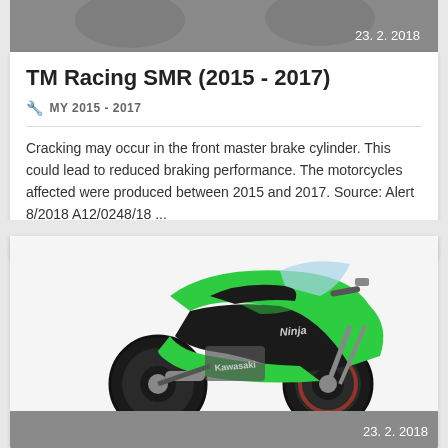[Figure (photo): Partial view of motorcycles on gray background with date 23. 2. 2018]
TM Racing SMR (2015 - 2017)
MY 2015 - 2017
Cracking may occur in the front master brake cylinder. This could lead to reduced braking performance. The motorcycles affected were produced between 2015 and 2017. Source: Alert 8/2018 A12/0248/18 ...
brakes / injury  1,515
[Figure (photo): Green and black Kawasaki Ninja sport motorcycle on white background]
23. 2. 2018